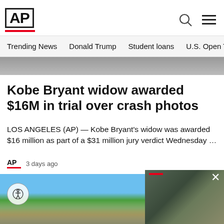[Figure (logo): AP (Associated Press) logo in bold black text with red underline bar]
Trending News   Donald Trump   Student loans   U.S. Open Tenn
[Figure (photo): Partial hero image showing people at top of page]
Kobe Bryant widow awarded $16M in trial over crash photos
LOS ANGELES (AP) — Kobe Bryant's widow was awarded $16 million as part of a $31 million jury verdict Wednesday …
3 days ago
[Figure (photo): Outdoor photo showing blue sky, green trees, and water infrastructure/dam structure in foreground]
[Figure (photo): Video popup overlay showing military soldiers in field with red bar and close X button]